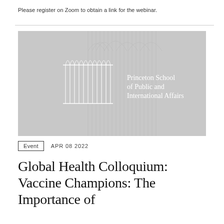Please register on Zoom to obtain a link for the webinar.
[Figure (logo): Princeton School of Public and International Affairs logo — gray background with white line-art of columned arches and text 'Princeton School of Public and International Affairs']
Event   APR 08 2022
Global Health Colloquium: Vaccine Champions: The Importance of